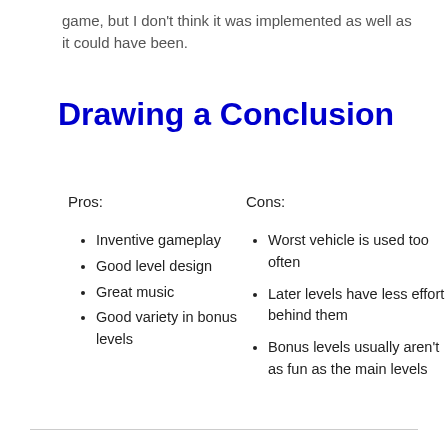game, but I don't think it was implemented as well as it could have been.
Drawing a Conclusion
Pros:
Cons:
Inventive gameplay
Good level design
Great music
Good variety in bonus levels
Worst vehicle is used too often
Later levels have less effort behind them
Bonus levels usually aren't as fun as the main levels